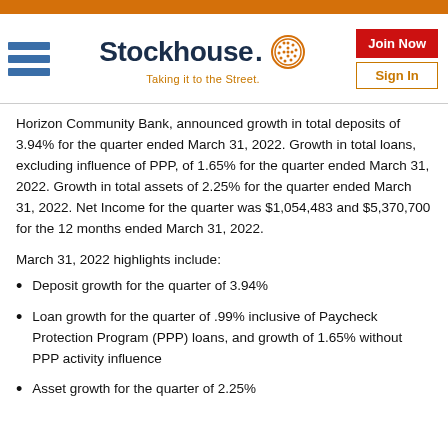[Figure (logo): Stockhouse logo with hamburger menu icon on left, Stockhouse wordmark with globe icon in center, tagline 'Taking it to the Street.' below, Join Now and Sign In buttons on right]
Horizon Community Bank, announced growth in total deposits of 3.94% for the quarter ended March 31, 2022. Growth in total loans, excluding influence of PPP, of 1.65% for the quarter ended March 31, 2022. Growth in total assets of 2.25% for the quarter ended March 31, 2022. Net Income for the quarter was $1,054,483 and $5,370,700 for the 12 months ended March 31, 2022.
March 31, 2022 highlights include:
Deposit growth for the quarter of 3.94%
Loan growth for the quarter of .99% inclusive of Paycheck Protection Program (PPP) loans, and growth of 1.65% without PPP activity influence
Asset growth for the quarter of 2.25%